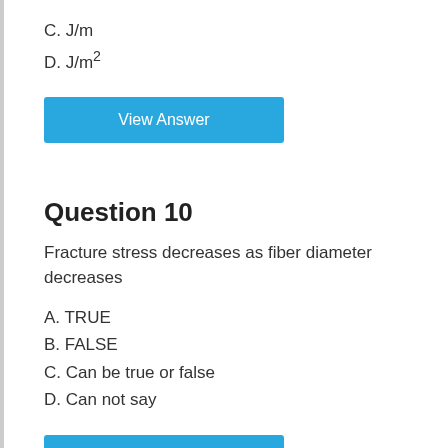C. J/m
D. J/m^2
View Answer
Question 10
Fracture stress decreases as fiber diameter decreases
A. TRUE
B. FALSE
C. Can be true or false
D. Can not say
View Answer